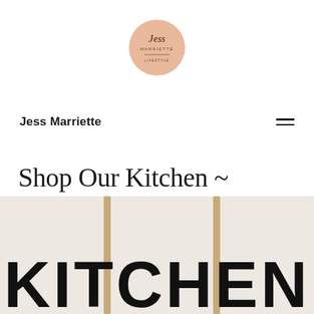[Figure (logo): Circular peach/salmon colored logo with script text 'Jess Marriette' inside]
Jess Marriette
Shop Our Kitchen ~
[Figure (photo): Kitchen scene with large bold 'KITCHEN' text over a light beige background with wooden stick/skewer props]